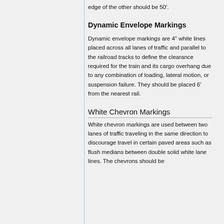edge of the other should be 50'.
Dynamic Envelope Markings
Dynamic envelope markings are 4" white lines placed across all lanes of traffic and parallel to the railroad tracks to define the clearance required for the train and its cargo overhang due to any combination of loading, lateral motion, or suspension failure. They should be placed 6' from the nearest rail.
White Chevron Markings
White chevron markings are used between two lanes of traffic traveling in the same direction to discourage travel in certain paved areas such as flush medians between double solid white lane lines. The chevrons should be